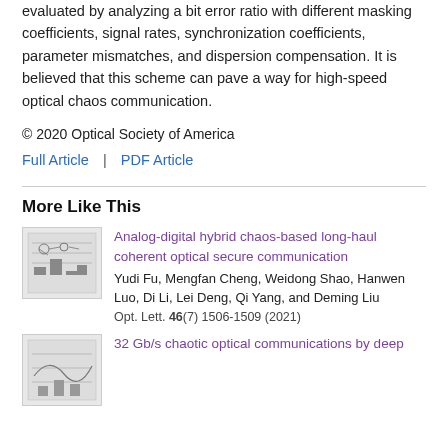evaluated by analyzing a bit error ratio with different masking coefficients, signal rates, synchronization coefficients, parameter mismatches, and dispersion compensation. It is believed that this scheme can pave a way for high-speed optical chaos communication.
© 2020 Optical Society of America
Full Article | PDF Article
More Like This
Analog-digital hybrid chaos-based long-haul coherent optical secure communication
Yudi Fu, Mengfan Cheng, Weidong Shao, Hanwen Luo, Di Li, Lei Deng, Qi Yang, and Deming Liu
Opt. Lett. 46(7) 1506-1509 (2021)
32 Gb/s chaotic optical communications by deep...